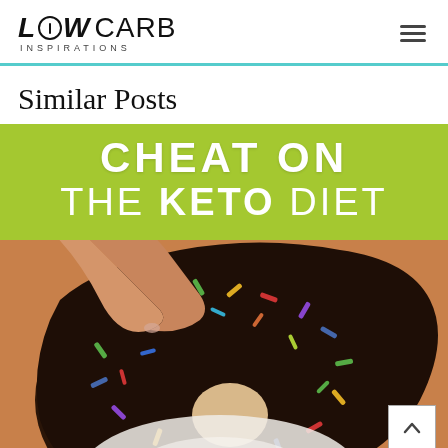LOW CARB INSPIRATIONS
Similar Posts
[Figure (photo): Blog post thumbnail image showing text 'CHEAT ON THE KETO DIET' on a lime green background above a photo of a hand holding a chocolate sprinkle donut, with a white-frosted donut visible below. A back-to-top arrow button appears in the lower right of the image.]